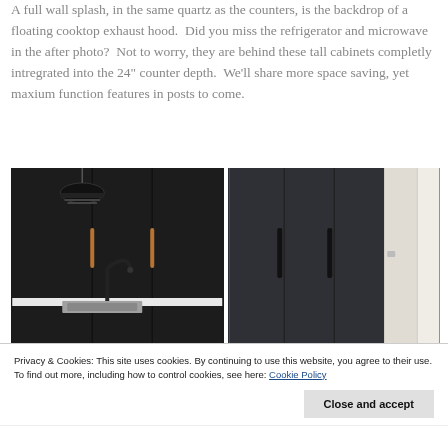A full wall splash, in the same quartz as the counters, is the backdrop of a floating cooktop exhaust hood.  Did you miss the refrigerator and microwave in the after photo?  Not to worry, they are behind these tall cabinets completly intregrated into the 24" counter depth.  We'll share more space saving, yet maxium function features in posts to come.
[Figure (photo): Two side-by-side kitchen photos. Left: dark modern kitchen with black pendant lamp, black cabinetry, white countertop and sink with black faucet, copper cabinet pulls. Right: tall dark cabinet panels/doors in a modern kitchen with black handles, light wall visible at right edge.]
Privacy & Cookies: This site uses cookies. By continuing to use this website, you agree to their use.
To find out more, including how to control cookies, see here: Cookie Policy
Close and accept